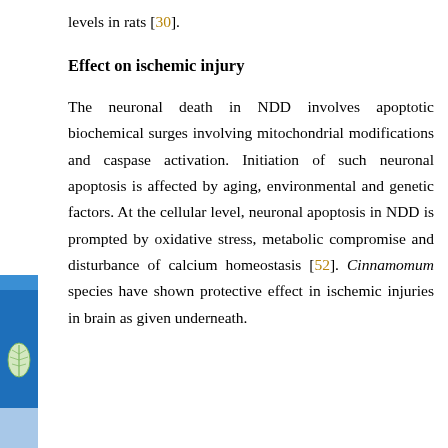levels in rats [30].
Effect on ischemic injury
The neuronal death in NDD involves apoptotic biochemical surges involving mitochondrial modifications and caspase activation. Initiation of such neuronal apoptosis is affected by aging, environmental and genetic factors. At the cellular level, neuronal apoptosis in NDD is prompted by oxidative stress, metabolic compromise and disturbance of calcium homeostasis [52]. Cinnamomum species have shown protective effect in ischemic injuries in brain as given underneath.